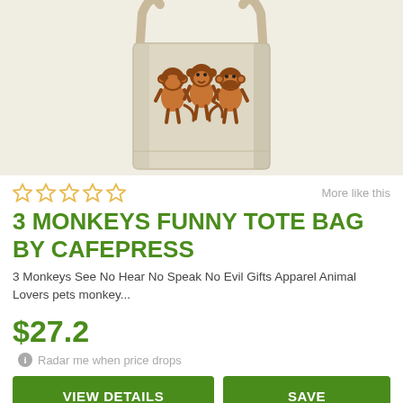[Figure (photo): A beige/cream canvas tote bag with three cartoon monkeys printed on it representing see no evil, hear no evil, speak no evil.]
☆☆☆☆☆    More like this
3 MONKEYS FUNNY TOTE BAG BY CAFEPRESS
3 Monkeys See No Hear No Speak No Evil Gifts Apparel Animal Lovers pets monkey...
$27.2
ⓘ Radar me when price drops
VIEW DETAILS   SAVE